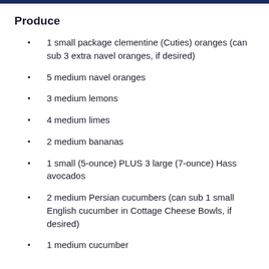Produce
1 small package clementine (Cuties) oranges (can sub 3 extra navel oranges, if desired)
5 medium navel oranges
3 medium lemons
4 medium limes
2 medium bananas
1 small (5-ounce) PLUS 3 large (7-ounce) Hass avocados
2 medium Persian cucumbers (can sub 1 small English cucumber in Cottage Cheese Bowls, if desired)
1 medium cucumber